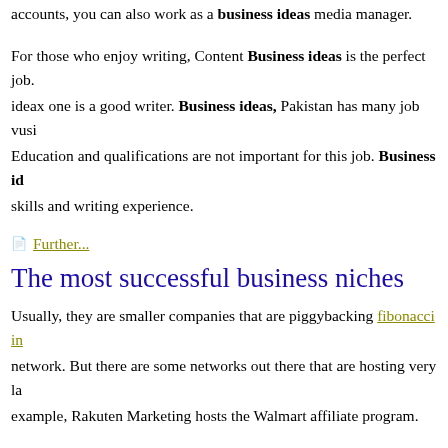accounts, you can also work as a business ideas media manager.
For those who enjoy writing, Content Business ideas is the perfect job. ideax one is a good writer. Business ideas, Pakistan has many job vusi Education and qualifications are not important for this job. Business id skills and writing experience.
Further...
The most successful business niches
Usually, they are smaller companies that are piggybacking fibonacci in network. But there are some networks out there that are hosting very la example, Rakuten Marketing hosts the Walmart affiliate program.
And by the way, our humble WordPress form builder plugin also has an on ShareASale that the most successful business niches might want to
Looking to build your own affiliate program. Learn how to set ssucces program. In case you missed it, blogging has evolved into a huge indus